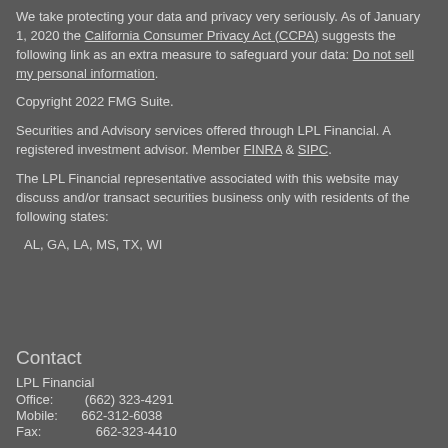We take protecting your data and privacy very seriously. As of January 1, 2020 the California Consumer Privacy Act (CCPA) suggests the following link as an extra measure to safeguard your data: Do not sell my personal information.
Copyright 2022 FMG Suite.
Securities and Advisory services offered through LPL Financial. A registered investment advisor. Member FINRA & SIPC.
The LPL Financial representative associated with this website may discuss and/or transact securities business only with residents of the following states:
AL, GA, LA, MS, TX, WI
Contact
LPL Financial
Office:   (662) 323-4291
Mobile:  662-312-6038
Fax:      662-323-4410